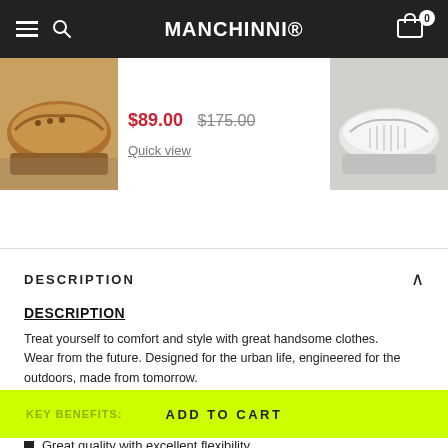MANCHINNI®
$89.00  $175.00
Quick view
DESCRIPTION
DESCRIPTION
Treat yourself to comfort and style with great handsome clothes.
Wear from the future. Designed for the urban life, engineered for the outdoors, made from tomorrow.
KEY BENEFITS:   ADD TO CART
Great quality with excellent flexibility.